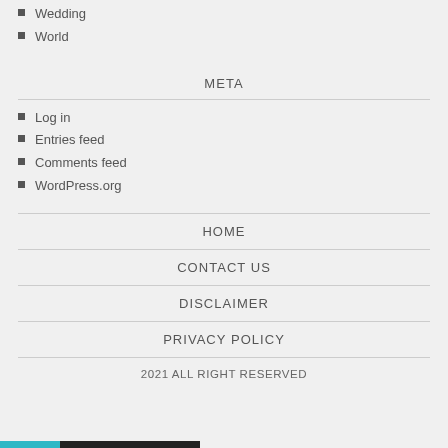Wedding
World
META
Log in
Entries feed
Comments feed
WordPress.org
HOME
CONTACT US
DISCLAIMER
PRIVACY POLICY
2021 ALL RIGHT RESERVED